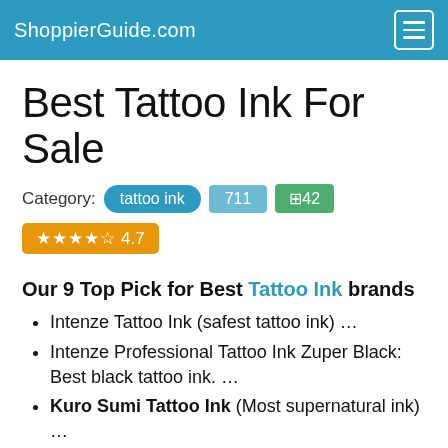ShoppierGuide.com
Best Tattoo Ink For Sale
Category: tattoo ink  711  ⊞42
★★★★☆ 4.7
Our 9 Top Pick for Best Tattoo Ink brands
Intenze Tattoo Ink (safest tattoo ink) …
Intenze Professional Tattoo Ink Zuper Black: Best black tattoo ink. …
Kuro Sumi Tattoo Ink (Most supernatural ink) …
Millennium Moms Primary Tattoo Ink (Combo of 14 Pack) …